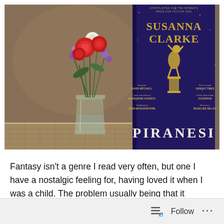[Figure (photo): A photograph showing a glass vase with red, purple, and white flowers on a wicker surface, alongside a hardcover book 'Piranesi' by Susanna Clarke with a dark blue cover featuring gold text and an illustration, shortlisted for the Women's Prize for Fiction 2021]
Fantasy isn't a genre I read very often, but one I have a nostalgic feeling for, having loved it when I was a child. The problem usually being that it becomes harder to evoke the magical feeling that a child's imagination is capable of creating. However I was willing to try and decided to read it on a day I'd have few interruptions
Follow ···